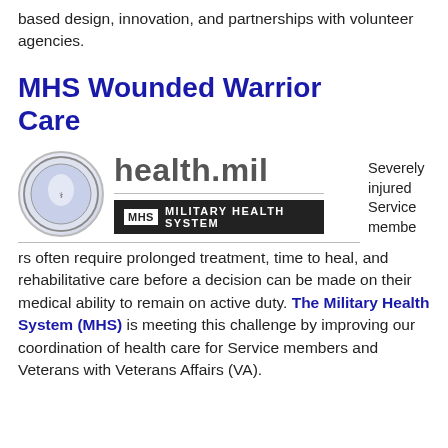based design, innovation, and partnerships with volunteer agencies.
MHS Wounded Warrior Care
[Figure (logo): health.mil Military Health System logo with circular badge and MHS bar]
Severely injured Service members often require prolonged treatment, time to heal, and rehabilitative care before a decision can be made on their medical ability to remain on active duty. The Military Health System (MHS) is meeting this challenge by improving our coordination of health care for Service members and Veterans with Veterans Affairs (VA).